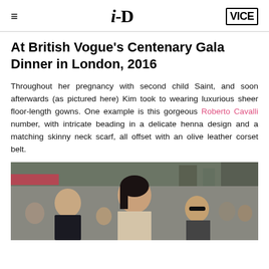i-D | VICE
At British Vogue's Centenary Gala Dinner in London, 2016
Throughout her pregnancy with second child Saint, and soon afterwards (as pictured here) Kim took to wearing luxurious sheer floor-length gowns. One example is this gorgeous Roberto Cavalli number, with intricate beading in a delicate henna design and a matching skinny neck scarf, all offset with an olive leather corset belt.
[Figure (photo): Street photo of Kim Kardashian walking surrounded by people, wearing a sheer floor-length gown]